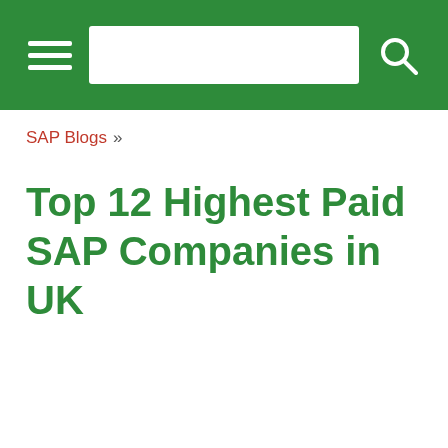SAP Blogs — Top 12 Highest Paid SAP Companies in UK
SAP Blogs »
Top 12 Highest Paid SAP Companies in UK